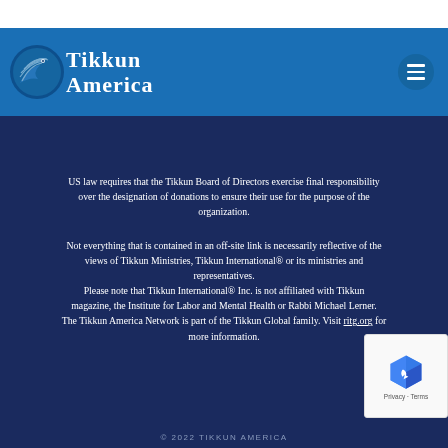Tikkun America
US law requires that the Tikkun Board of Directors exercise final responsibility over the designation of donations to ensure their use for the purpose of the organization.
Not everything that is contained in an off-site link is necessarily reflective of the views of Tikkun Ministries, Tikkun International® or its ministries and representatives. Please note that Tikkun International® Inc. is not affiliated with Tikkun magazine, the Institute for Labor and Mental Health or Rabbi Michael Lerner. The Tikkun America Network is part of the Tikkun Global family. Visit ritg.org for more information.
© 2022 TIKKUN AMERICA